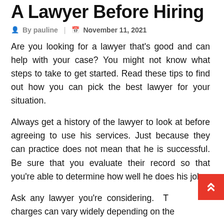A Lawyer Before Hiring
By pauline  |  November 11, 2021
Are you looking for a lawyer that's good and can help with your case? You might not know what steps to take to get started. Read these tips to find out how you can pick the best lawyer for your situation.
Always get a history of the lawyer to look at before agreeing to use his services. Just because they can practice does not mean that he is successful. Be sure that you evaluate their record so that you're able to determine how well he does his job.
Ask any lawyer you're considering. T charges can vary widely depending on the